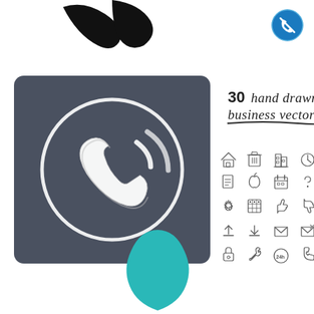[Figure (illustration): Black abstract shape/swipe marks at top left]
[Figure (logo): Circular blue icon with phone/wifi signal symbol at top right]
[Figure (illustration): Dark gray square with rounded corners containing a white 3D phone handset icon in a circle with signal waves]
[Figure (illustration): Grid of 30 hand drawn business vector icons in sketch style including home, trash, building, clock, globe, document, apple, calendar, question mark, magnifier, gear, spreadsheet, thumbs up, thumbs down, money bag, upload, download, envelope, email, at-sign, lock, wrench, 24h, phone, headphones, flag, compass, location pin, person, wifi phone]
30 hand drawn business vector icons
[Figure (illustration): Teal/turquoise teardrop or egg shape at bottom center]